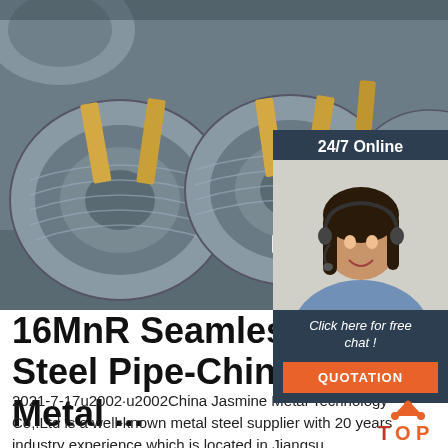[Figure (photo): Large coils of steel wire rod bundled with strapping tape, stored in a warehouse setting.]
[Figure (photo): Customer service chat widget showing a smiling woman with a headset, labeled 24/7 Online with a Click here for free chat link and QUOTATION button.]
16MnR Seamless Square Steel Pipe-China Jasmine Metal ...
2021-7-17u2002·u2002China Jasmine Metal Technology Co,.Ltd is a well-known metal steel supplier with 20 years industry experience,which is located in Jiangsu Province,nearby Shanghai
[Figure (logo): TOP logo with orange triangular arrow icon and red/orange TOP text]